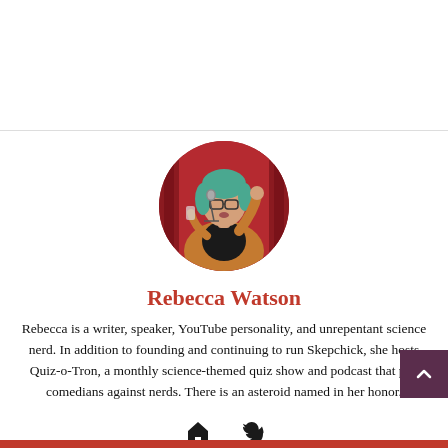[Figure (photo): Circular cropped photo of Rebecca Watson, a woman with teal/green hair and glasses, speaking into a microphone on stage with a red curtain behind her, wearing a black top and orange cardigan, holding a drink.]
Rebecca Watson
Rebecca is a writer, speaker, YouTube personality, and unrepentant science nerd. In addition to founding and continuing to run Skepchick, she hosts Quiz-o-Tron, a monthly science-themed quiz show and podcast that pits comedians against nerds. There is an asteroid named in her honor.
[Figure (illustration): Home icon and Twitter bird icon links at the bottom of the author bio card.]